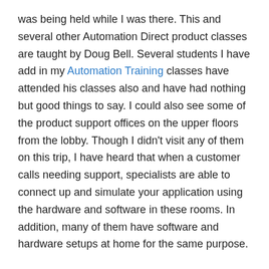was being held while I was there. This and several other Automation Direct product classes are taught by Doug Bell. Several students I have add in my Automation Training classes have attended his classes also and have had nothing but good things to say. I could also see some of the product support offices on the upper floors from the lobby. Though I didn't visit any of them on this trip, I have heard that when a customer calls needing support, specialists are able to connect up and simulate your application using the hardware and software in these rooms. In addition, many of them have software and hardware setups at home for the same purpose.
Overall my impression was that Automation Direct